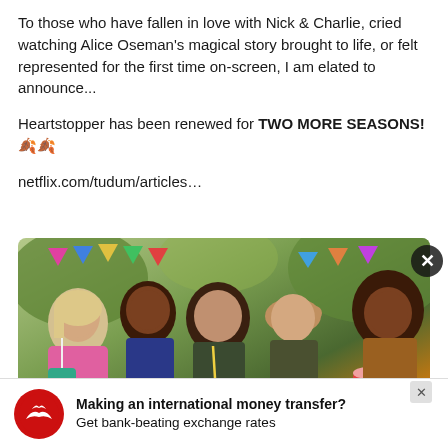To those who have fallen in love with Nick & Charlie, cried watching Alice Oseman's magical story brought to life, or felt represented for the first time on-screen, I am elated to announce...
Heartstopper has been renewed for TWO MORE SEASONS! 🍂🍂
netflix.com/tudum/articles...
[Figure (photo): Promotional photo of five young actors from Heartstopper TV show, grouped closely together, each holding milkshake drinks with straws, in front of a colorful outdoor fairground background. A red bar appears at the bottom of the image.]
Making an international money transfer? Get bank-beating exchange rates